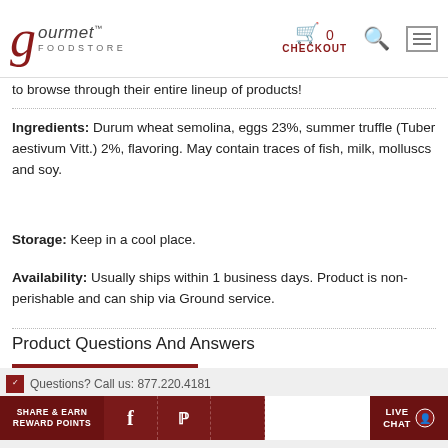gourmet FOODSTORE — 0 CHECKOUT
to browse through their entire lineup of products!
Ingredients: Durum wheat semolina, eggs 23%, summer truffle (Tuber aestivum Vitt.) 2%, flavoring. May contain traces of fish, milk, molluscs and soy.
Storage: Keep in a cool place.
Availability: Usually ships within 1 business days. Product is non-perishable and can ship via Ground service.
Product Questions And Answers
ASK A QUESTION
Questions? Call us: 877.220.4181 | SHARE & EARN REWARD POINTS | LIVE CHAT